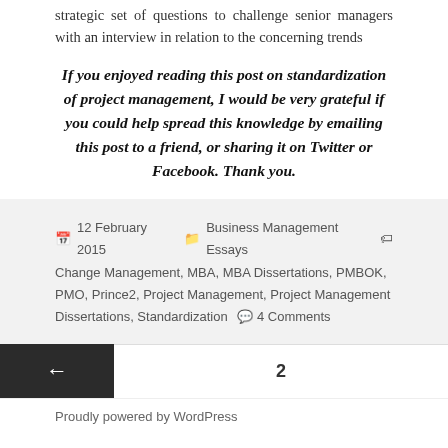strategic set of questions to challenge senior managers with an interview in relation to the concerning trends
If you enjoyed reading this post on standardization of project management, I would be very grateful if you could help spread this knowledge by emailing this post to a friend, or sharing it on Twitter or Facebook. Thank you.
12 February 2015   Business Management Essays   Change Management, MBA, MBA Dissertations, PMBOK, PMO, Prince2, Project Management, Project Management Dissertations, Standardization   4 Comments
2
Proudly powered by WordPress